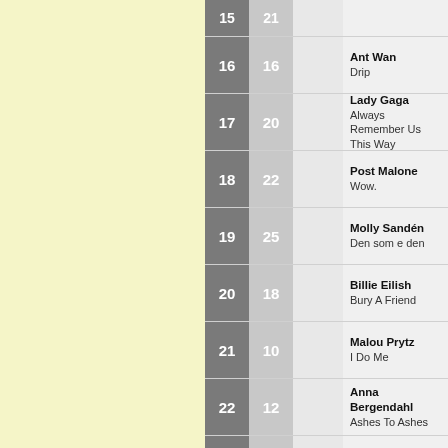15 | 21
16 | 16 | Ant Wan – Drip
17 | 20 | Lady Gaga – Always Remember Us This Way
18 | 22 | Post Malone – Wow.
19 | 25 | Molly Sandén – Den som e den
20 | 18 | Billie Eilish – Bury A Friend
21 | 10 | Malou Prytz – I Do Me
22 | 12 | Anna Bergendahl – Ashes To Ashes
23 | 13 | Dolly Style – Habibi
24 | ... | Ariana Grande